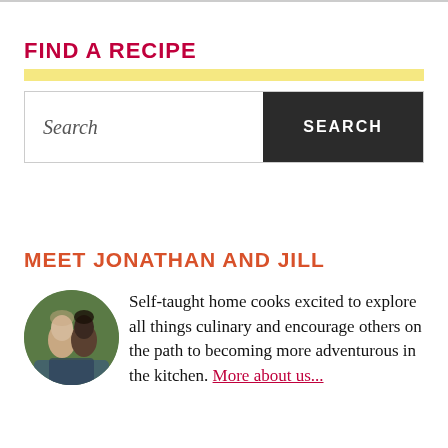FIND A RECIPE
[Figure (screenshot): Search bar with italic placeholder text 'Search' on the left and a dark grey 'SEARCH' button on the right]
MEET JONATHAN AND JILL
[Figure (photo): Circular profile photo of Jonathan and Jill, a couple, outdoors with green foliage background]
Self-taught home cooks excited to explore all things culinary and encourage others on the path to becoming more adventurous in the kitchen. More about us...